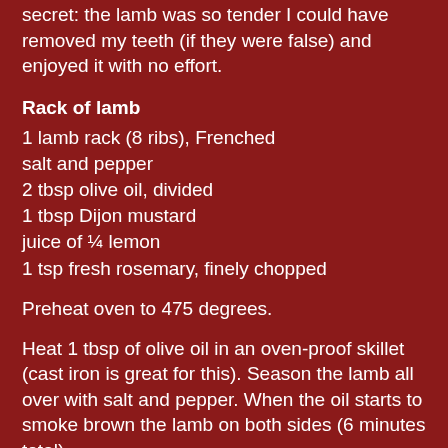secret: the lamb was so tender I could have removed my teeth (if they were false) and enjoyed it with no effort.
Rack of lamb
1 lamb rack (8 ribs), Frenched
salt and pepper
2 tbsp olive oil, divided
1 tbsp Dijon mustard
juice of ¼ lemon
1 tsp fresh rosemary, finely chopped
Preheat oven to 475 degrees.
Heat 1 tbsp of olive oil in an oven-proof skillet (cast iron is great for this). Season the lamb all over with salt and pepper. When the oil starts to smoke brown the lamb on both sides (6 minutes total).
Mix the other tablespoon of olive oil with the mustard, rosemary and lemon juice.
When the lamb is well-browned, remove the pan from the